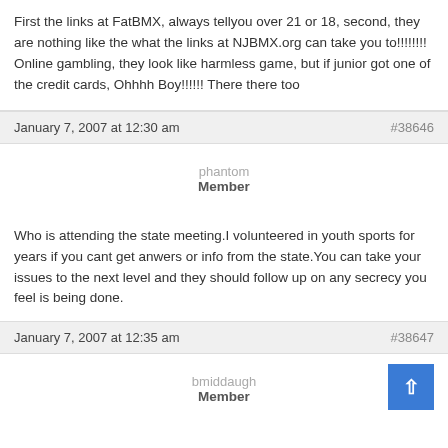First the links at FatBMX, always tellyou over 21 or 18, second, they are nothing like the what the links at NJBMX.org can take you to!!!!!!!! Online gambling, they look like harmless game, but if junior got one of the credit cards, Ohhhh Boy!!!!!! There there too
January 7, 2007 at 12:30 am
#38646
phantom
Member
Who is attending the state meeting.I volunteered in youth sports for years if you cant get anwers or info from the state.You can take your issues to the next level and they should follow up on any secrecy you feel is being done.
January 7, 2007 at 12:35 am
#38647
bmiddaugh
Member